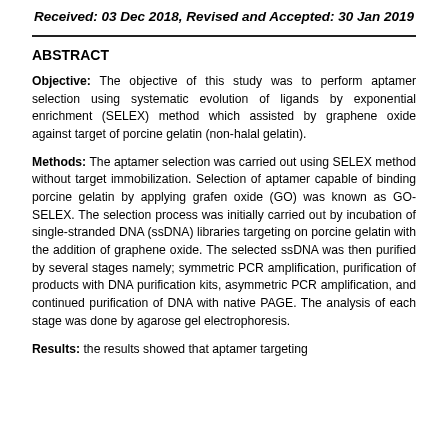Received: 03 Dec 2018, Revised and Accepted: 30 Jan 2019
ABSTRACT
Objective: The objective of this study was to perform aptamer selection using systematic evolution of ligands by exponential enrichment (SELEX) method which assisted by graphene oxide against target of porcine gelatin (non-halal gelatin).
Methods: The aptamer selection was carried out using SELEX method without target immobilization. Selection of aptamer capable of binding porcine gelatin by applying grafen oxide (GO) was known as GO-SELEX. The selection process was initially carried out by incubation of single-stranded DNA (ssDNA) libraries targeting on porcine gelatin with the addition of graphene oxide. The selected ssDNA was then purified by several stages namely; symmetric PCR amplification, purification of products with DNA purification kits, asymmetric PCR amplification, and continued purification of DNA with native PAGE. The analysis of each stage was done by agarose gel electrophoresis.
Results: the results showed that aptamer targeting...